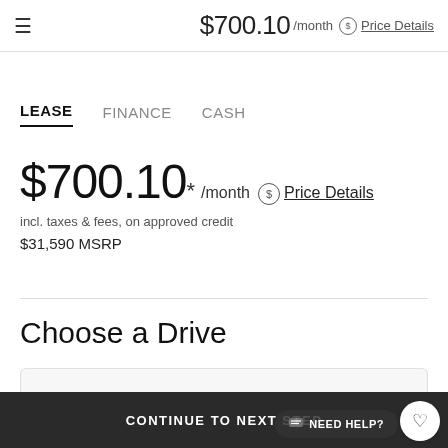$700.10 /month Price Details
LEASE   FINANCE   CASH
$700.10* /month Price Details
incl. taxes & fees, on approved credit
$31,590 MSRP
Choose a Drive
Front-Wheel Drive
CONTINUE TO NEXT STEP